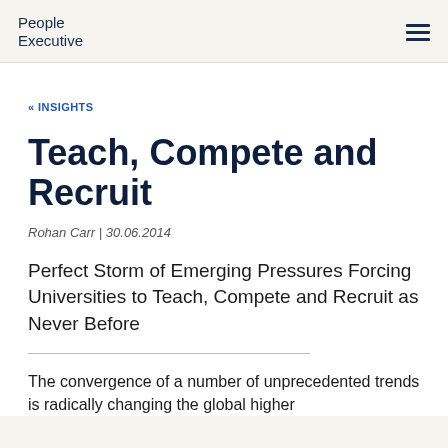People Executive
« INSIGHTS
Teach, Compete and Recruit
Rohan Carr | 30.06.2014
Perfect Storm of Emerging Pressures Forcing Universities to Teach, Compete and Recruit as Never Before
The convergence of a number of unprecedented trends is radically changing the global higher